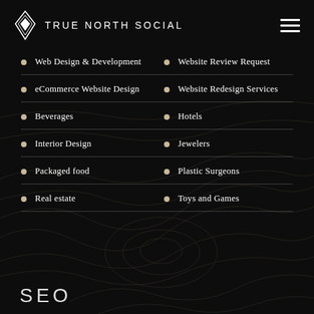TRUE NORTH SOCIAL
Web Design & Development
Website Review Request
eCommerce Website Design
Website Redesign Services
Beverages
Hotels
Interior Design
Jewelers
Packaged food
Plastic Surgeons
Real estate
Toys and Games
SEO